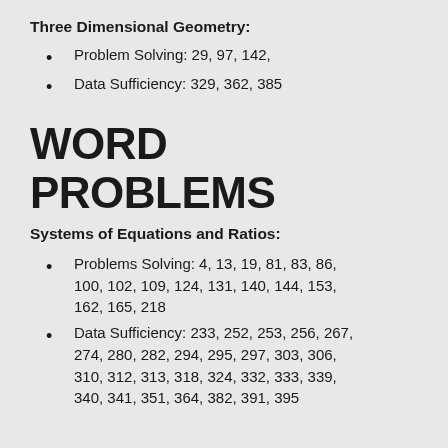Three Dimensional Geometry:
Problem Solving: 29, 97, 142,
Data Sufficiency: 329, 362, 385
WORD PROBLEMS
Systems of Equations and Ratios:
Problems Solving: 4, 13, 19, 81, 83, 86, 100, 102, 109, 124, 131, 140, 144, 153, 162, 165, 218
Data Sufficiency: 233, 252, 253, 256, 267, 274, 280, 282, 294, 295, 297, 303, 306, 310, 312, 313, 318, 324, 332, 333, 339, 340, 341, 351, 364, 382, 391, 395